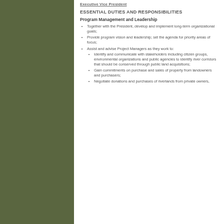Executive Vice President
ESSENTIAL DUTIES AND RESPONSIBILITIES
Program Management and Leadership
Together with the President, develop and implement long-term organizational goals;
Provide program vision and leadership; set the agenda for priority areas of focus;
Assist and advise Project Managers as they work to:
Identify and communicate with stakeholders including citizen groups, environmental organizations and public agencies to identify river corridors that should be conserved through public land acquisitions;
Gain commitments on purchase and sales of property from landowners and purchasers;
Negotiate donations and purchases of riverlands from private owners,